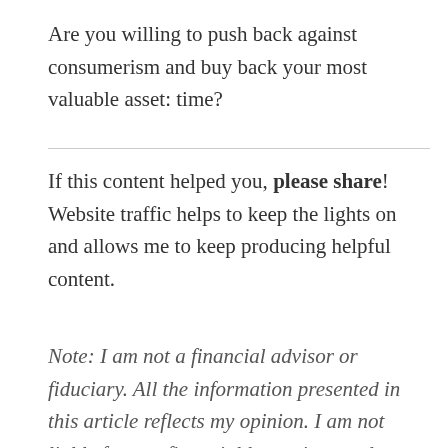Are you willing to push back against consumerism and buy back your most valuable asset: time?
If this content helped you, please share! Website traffic helps to keep the lights on and allows me to keep producing helpful content.
Note: I am not a financial advisor or fiduciary. All the information presented in this article reflects my opinion. I am not liable for any financial losses incurred related to this